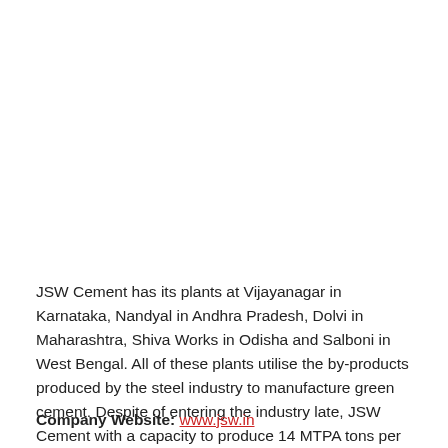JSW Cement has its plants at Vijayanagar in Karnataka, Nandyal in Andhra Pradesh, Dolvi in Maharashtra, Shiva Works in Odisha and Salboni in West Bengal. All of these plants utilise the by-products produced by the steel industry to manufacture green cement. Despite of entering the industry late, JSW Cement with a capacity to produce 14 MTPA tons per year, is swiftly becoming a force to reckon with.
Company Website: www.jsw.in